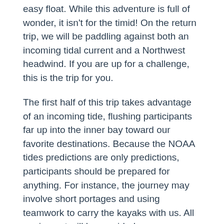easy float. While this adventure is full of wonder, it isn't for the timid! On the return trip, we will be paddling against both an incoming tidal current and a Northwest headwind. If you are up for a challenge, this is the trip for you.
The first half of this trip takes advantage of an incoming tide, flushing participants far up into the inner bay toward our favorite destinations. Because the NOAA tides predictions are only predictions, participants should be prepared for anything. For instance, the journey may involve short portages and using teamwork to carry the kayaks with us. All equipment will be provided.
Register: Click here to register
Restrictions: Children under 16 yrs. and people with serious medical conditions are not allowed on